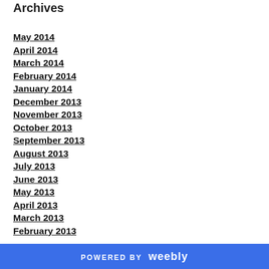Archives
May 2014
April 2014
March 2014
February 2014
January 2014
December 2013
November 2013
October 2013
September 2013
August 2013
July 2013
June 2013
May 2013
April 2013
March 2013
February 2013
POWERED BY weebly